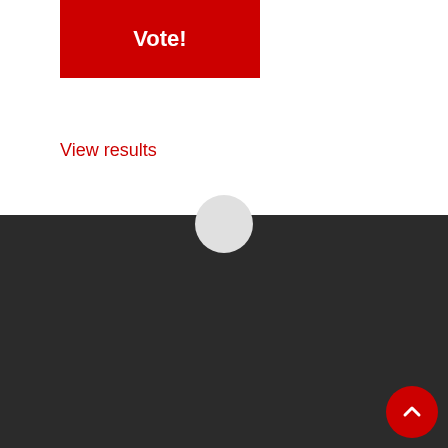Vote!
View results
Archives
August 2022
| M | T | W | T | F | S | S |
| --- | --- | --- | --- | --- | --- | --- |
| 1 | 2 | 3 | 4 | 5 | 6 | 7 |
| 8 | 9 | 10 | 11 | 12 | 13 | 14 |